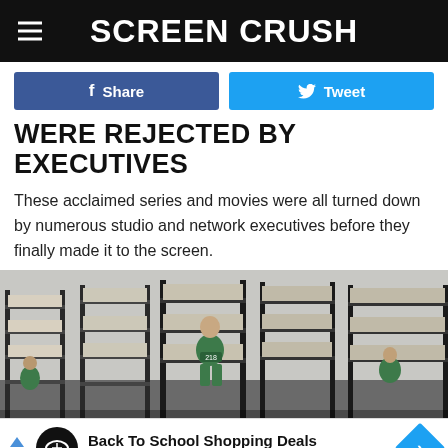Screen Crush
Share   Tweet
WERE REJECTED BY EXECUTIVES
These acclaimed series and movies were all turned down by numerous studio and network executives before they finally made it to the screen.
[Figure (photo): Scene from Squid Game showing a person in green tracksuit standing in a large dormitory room with stacked metal bunk beds, surrounded by other players]
Back To School Shopping Deals  Leesburg Premium Outlets